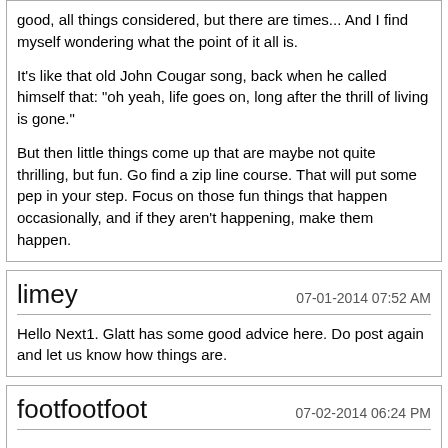good, all things considered, but there are times... And I find myself wondering what the point of it all is.

It's like that old John Cougar song, back when he called himself that: "oh yeah, life goes on, long after the thrill of living is gone."

But then little things come up that are maybe not quite thrilling, but fun. Go find a zip line course. That will put some pep in your step. Focus on those fun things that happen occasionally, and if they aren't happening, make them happen.
limey
07-01-2014 07:52 AM
Hello Next1. Glatt has some good advice here. Do post again and let us know how things are.
footfootfoot
07-02-2014 06:24 PM
Quote:
Originally Posted by DanaC (Post 903374)
It was great fun though. Felt a slight twinge of guilt when they were being so lovely. Very impressed with the staff at the cosmetics dept. I am the world's least make-uppy woman. I just have zero interest in cosmetics - I do occasinally put a bit